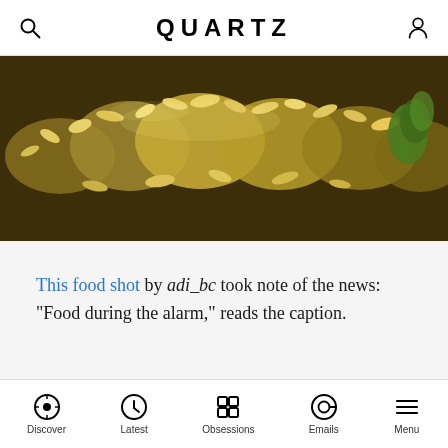QUARTZ
[Figure (photo): Close-up photo of fried or roasted rice/grain snack food, yellowish-golden colored pieces piled together with some green visible at edge, on a dark surface]
This food shot by adi_bc took note of the news: “Food during the alarm,” reads the caption.
* * *
Discover  Latest  Obsessions  Emails  Menu